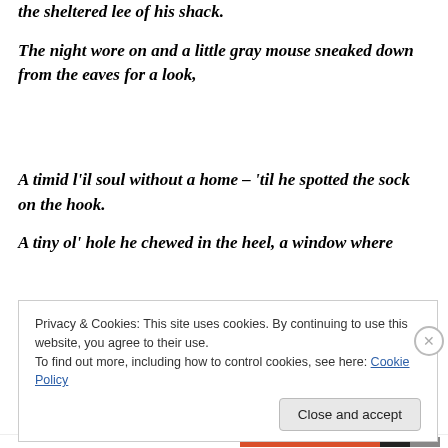the sheltered lee of his shack.
The night wore on and a little gray mouse sneaked down from the eaves for a look,
A timid l'il soul without a home – 'til he spotted the sock on the hook.
A tiny ol' hole he chewed in the heel, a window where
Privacy & Cookies: This site uses cookies. By continuing to use this website, you agree to their use.
To find out more, including how to control cookies, see here: Cookie Policy